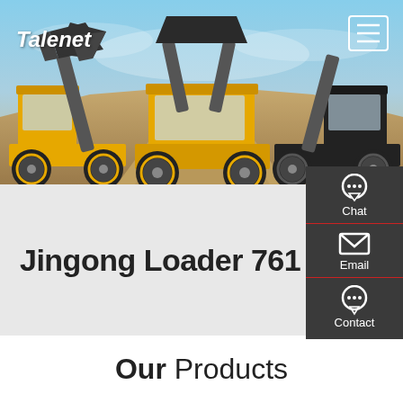[Figure (photo): Hero banner showing two large yellow front-end wheel loaders with raised buckets, photographed against a blue sky with a sand/dirt background. Talenet logo in top-left, hamburger menu icon in top-right.]
Jingong Loader 761
Our Products